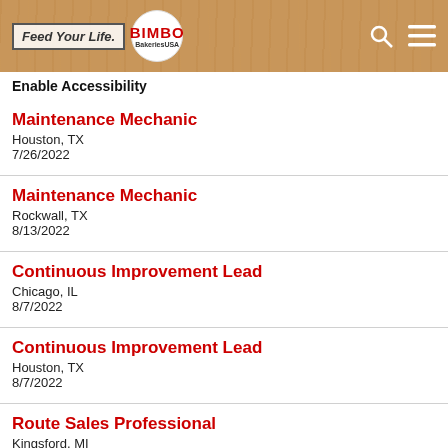[Figure (logo): Bimbo Bakeries USA header with Feed Your Life logo, Bimbo Bakeries USA logo, search icon and hamburger menu icon on wood-textured background]
Enable Accessibility
Maintenance Mechanic
Houston, TX
7/26/2022
Maintenance Mechanic
Rockwall, TX
8/13/2022
Continuous Improvement Lead
Chicago, IL
8/7/2022
Continuous Improvement Lead
Houston, TX
8/7/2022
Route Sales Professional
Kingsford, MI
8/22/2022